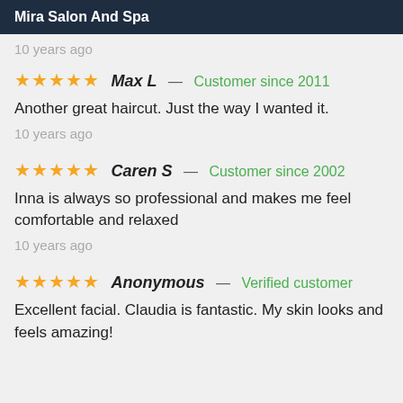Mira Salon And Spa
10 years ago
★★★★★ Max L — Customer since 2011
Another great haircut. Just the way I wanted it.
10 years ago
★★★★★ Caren S — Customer since 2002
Inna is always so professional and makes me feel comfortable and relaxed
10 years ago
★★★★★ Anonymous — Verified customer
Excellent facial. Claudia is fantastic. My skin looks and feels amazing!